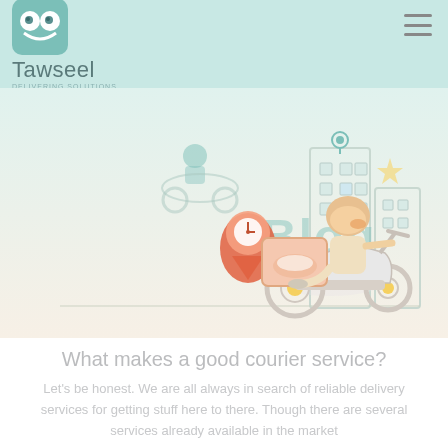Tawseel
[Figure (illustration): Illustration of a delivery courier riding a scooter with a food delivery box, a location pin marker with a clock, city buildings in background, and a smaller courier on a motorbike in the upper left. Text 'Blog' is overlaid in blue. Style is flat/cartoon on a light cream/mint background.]
What makes a good courier service?
Let's be honest. We are all always in search of reliable delivery services for getting stuff here to there. Though there are several services already available in the market